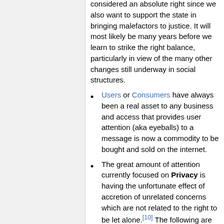considered an absolute right since we also want to support the state in bringing malefactors to justice. It will most likely be many years before we learn to strike the right balance, particularly in view of the many other changes still underway in social structures.
Users or Consumers have always been a real asset to any business and access that provides user attention (aka eyeballs) to a message is now a commodity to be bought and sold on the internet.
The great amount of attention currently focused on Privacy is having the unfortunate effect of accretion of unrelated concerns which are not related to the right to be let alone.[10] The following are